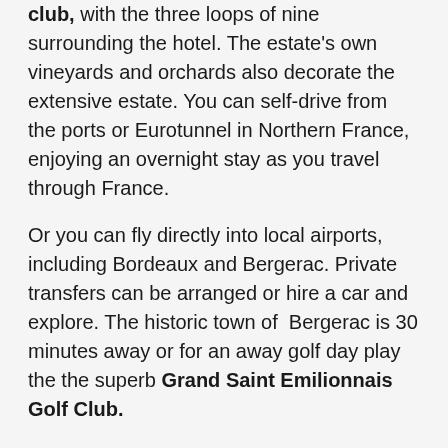club, with the three loops of nine surrounding the hotel. The estate's own vineyards and orchards also decorate the extensive estate. You can self-drive from the ports or Eurotunnel in Northern France, enjoying an overnight stay as you travel through France.
Or you can fly directly into local airports, including Bordeaux and Bergerac. Private transfers can be arranged or hire a car and explore. The historic town of Bergerac is 30 minutes away or for an away golf day play the the superb Grand Saint Emilionnais Golf Club.
Michelin-starred restaurant and updated brasserie
Spa and outdoor pools